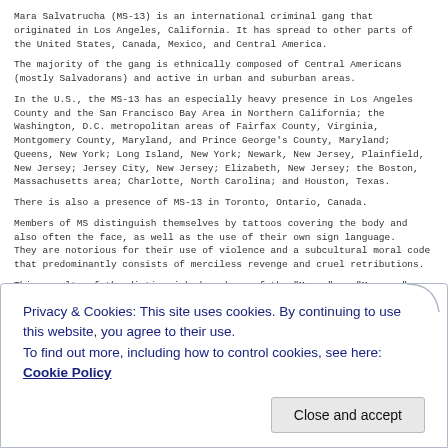Mara Salvatrucha (MS-13) is an international criminal gang that originated in Los Angeles, California. It has spread to other parts of the United States, Canada, Mexico, and Central America.
The majority of the gang is ethnically composed of Central Americans (mostly Salvadorans) and active in urban and suburban areas.
In the U.S., the MS-13 has an especially heavy presence in Los Angeles County and the San Francisco Bay Area in Northern California; the Washington, D.C. metropolitan areas of Fairfax County, Virginia, Montgomery County, Maryland, and Prince George's County, Maryland; Queens, New York; Long Island, New York; Newark, New Jersey, Plainfield, New Jersey; Jersey City, New Jersey; Elizabeth, New Jersey; the Boston, Massachusetts area; Charlotte, North Carolina; and Houston, Texas.
There is also a presence of MS-13 in Toronto, Ontario, Canada.
Members of MS distinguish themselves by tattoos covering the body and also often the face, as well as the use of their own sign language.
They are notorious for their use of violence and a subcultural moral code that predominantly consists of merciless revenge and cruel retributions.
This cruelty of the distinguished members of the "Maras" or "Mareros" earned them a path to be recruited by the Sinaloa Cartel battling against Los Zetas in an ongoing drug war south of the United States border.[5] [6][7]
Their wide-ranging activities have drawn the attention of the FBI and Immigration and Customs Enforcement, who have initiated wide-scale raids against known and suspected gang members – netting hundreds of arrests across the country.
******
The Mexican Mafia (Spanish: Mafia Mexicana), also known as La eMe (Spanish for "the M"), is a highly organized Mexican American
Privacy & Cookies: This site uses cookies. By continuing to use this website, you agree to their use.
To find out more, including how to control cookies, see here: Cookie Policy
Close and accept